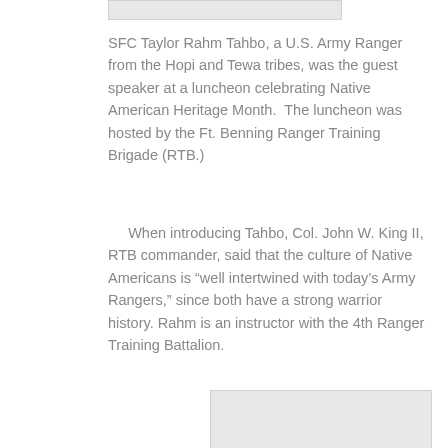[Figure (photo): Top image placeholder, partially visible at top of page]
SFC Taylor Rahm Tahbo, a U.S. Army Ranger from the Hopi and Tewa tribes, was the guest speaker at a luncheon celebrating Native American Heritage Month.  The luncheon was hosted by the Ft. Benning Ranger Training Brigade (RTB.)
When introducing Tahbo, Col. John W. King II, RTB commander, said that the culture of Native Americans is “well intertwined with today’s Army Rangers,” since both have a strong warrior history. Rahm is an instructor with the 4th Ranger Training Battalion.
[Figure (photo): Bottom image placeholder, partially visible at bottom of page]